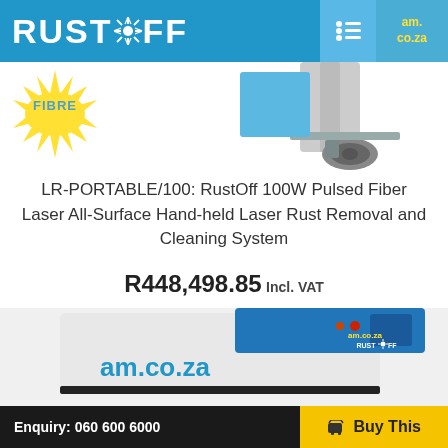RUST*FF | am.co.za
[Figure (photo): Top portion of RustOff laser rust removal machine with a FIBRE badge and wheel/caster detail visible]
LR-PORTABLE/100: RustOff 100W Pulsed Fiber Laser All-Surface Hand-held Laser Rust Removal and Cleaning System
R448,498.85 Incl. VAT
[Figure (photo): Bottom portion of RustOff laser rust removal machine showing am.co.za branding and RUST*FF logo on the machine body]
Enquiry: 060 600 6000 | Buy This